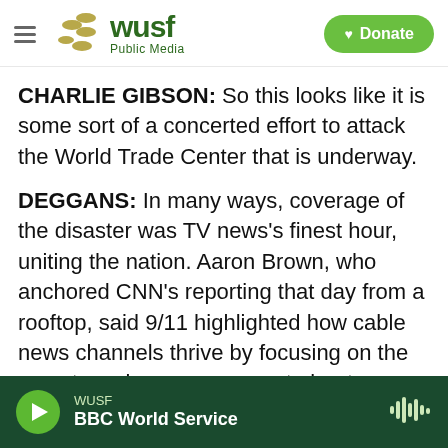WUSF Public Media — Donate
CHARLIE GIBSON: So this looks like it is some sort of a concerted effort to attack the World Trade Center that is underway.
DEGGANS: In many ways, coverage of the disaster was TV news's finest hour, uniting the nation. Aaron Brown, who anchored CNN's reporting that day from a rooftop, said 9/11 highlighted how cable news channels thrive by focusing on the one story viewers care most about.
BROWN: The lesson of 9/11 in many, many, many way is that you need one great story. And you'd feel
WUSF — BBC World Service